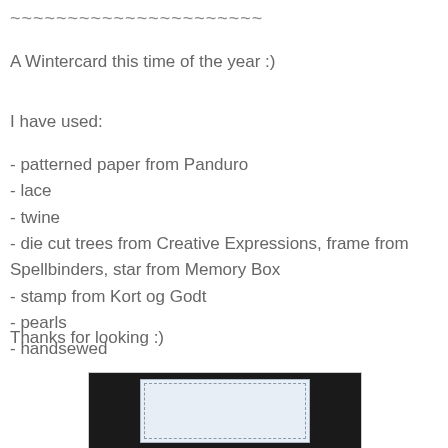~~~~~~~~~~~~~~~~~~~~~~
A Wintercard this time of the year :)
I have used:
- patterned paper from Panduro
- lace
- twine
- die cut trees from Creative Expressions, frame from Spellbinders, star from Memory Box
- stamp from Kort og Godt
- pearls
- handsewed
Thanks for looking :)
[Figure (photo): Photo of a handmade winter card displayed against a dark/black background. The card appears to be light blue/grey with decorative elements.]